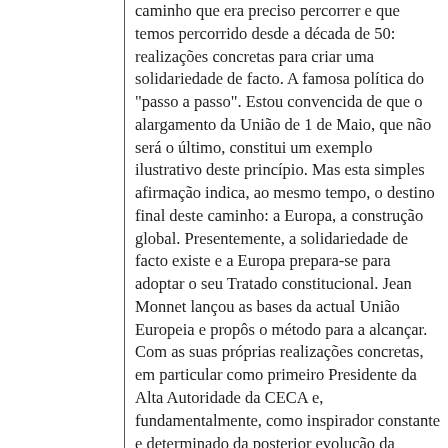caminho que era preciso percorrer e que temos percorrido desde a década de 50: realizações concretas para criar uma solidariedade de facto. A famosa política do "passo a passo". Estou convencida de que o alargamento da União de 1 de Maio, que não será o último, constitui um exemplo ilustrativo deste princípio. Mas esta simples afirmação indica, ao mesmo tempo, o destino final deste caminho: a Europa, a construção global. Presentemente, a solidariedade de facto existe e a Europa prepara-se para adoptar o seu Tratado constitucional. Jean Monnet lançou as bases da actual União Europeia e propôs o método para a alcançar. Com as suas próprias realizações concretas, em particular como primeiro Presidente da Alta Autoridade da CECA e, fundamentalmente, como inspirador constante e determinado da posterior evolução da integração europeia. O